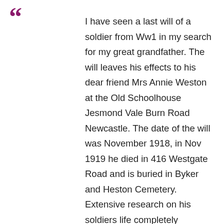I have seen a last will of a soldier from Ww1 in my search for my great grandfather. The will leaves his effects to his dear friend Mrs Annie Weston at the Old Schoolhouse Jesmond Vale Burn Road Newcastle. The date of the will was November 1918, in Nov 1919 he died in 416 Westgate Road and is buried in Byker and Heston Cemetery. Extensive research on his soldiers life completely matches all the evidence I have for my Great grandfather from his marriage and son birth certificates, in addition to his service records. I have checked the electoral roll for 1918 1919 and 1920 and find only Ethel May and Thyme Wintrip. Any information about the old school house and/or the teachers would be appreciated.